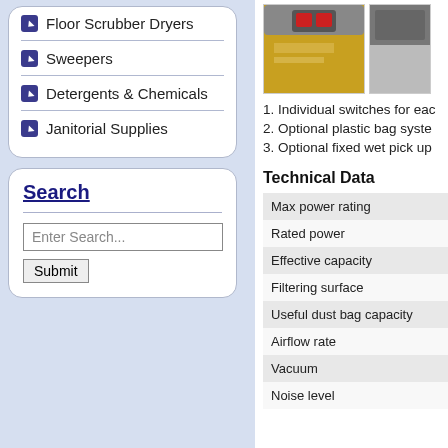Floor Scrubber Dryers
Sweepers
Detergents & Chemicals
Janitorial Supplies
Search
[Figure (photo): Close-up photo of yellow industrial vacuum cleaner with red switches visible on top panel]
[Figure (photo): Partial photo of industrial vacuum cleaner, grey/dark tones]
1. Individual switches for eac
2. Optional plastic bag syste
3. Optional fixed wet pick up
Technical Data
| Parameter |
| --- |
| Max power rating |
| Rated power |
| Effective capacity |
| Filtering surface |
| Useful dust bag capacity |
| Airflow rate |
| Vacuum |
| Noise level |